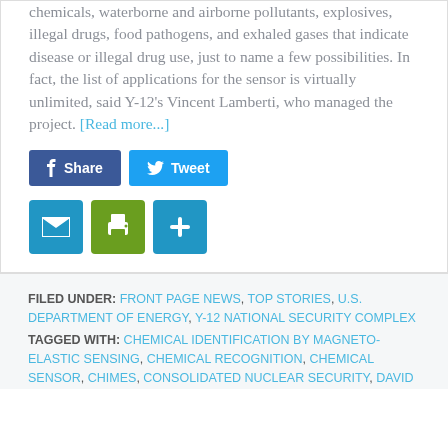chemicals, waterborne and airborne pollutants, explosives, illegal drugs, food pathogens, and exhaled gases that indicate disease or illegal drug use, just to name a few possibilities. In fact, the list of applications for the sensor is virtually unlimited, said Y-12's Vincent Lamberti, who managed the project. [Read more...]
[Figure (infographic): Social sharing buttons: Facebook Share button (blue), Twitter Tweet button (light blue), and three icon buttons below: email (blue envelope), print (green printer), and add/plus (blue plus sign).]
FILED UNDER: FRONT PAGE NEWS, TOP STORIES, U.S. DEPARTMENT OF ENERGY, Y-12 NATIONAL SECURITY COMPLEX
TAGGED WITH: CHEMICAL IDENTIFICATION BY MAGNETO-ELASTIC SENSING, CHEMICAL RECOGNITION, CHEMICAL SENSOR, CHIMES, CONSOLIDATED NUCLEAR SECURITY, DAVID